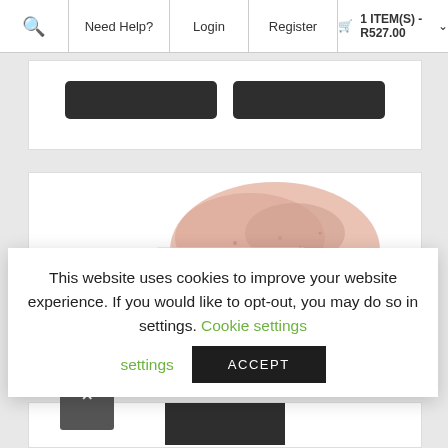🔍  Need Help?  Login  Register  🛒 1 ITEM(S) - R527.00 ∨
[Figure (screenshot): Two dark rounded-rectangle buttons partially visible at top of a white product card]
[Figure (photo): Isabella Garcia International product with a peach/pink textured cosmetic swatch and white packaging with IG logo]
This website uses cookies to improve your website experience. If you would like to opt-out, you may do so in settings. Cookie settings  ACCEPT
[Figure (screenshot): Back to top arrow button (dark grey, upward chevron) partially visible at bottom left]
[Figure (screenshot): Bottom portion of a product card with a dark element visible]